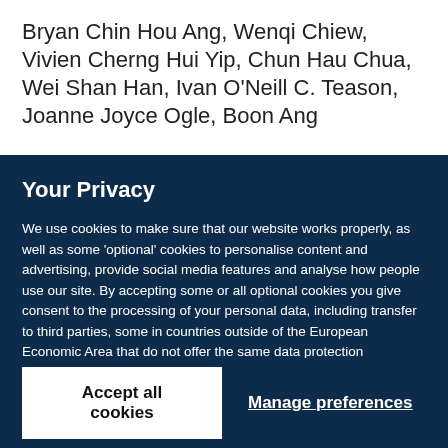Bryan Chin Hou Ang, Wenqi Chiew, Vivien Cherng Hui Yip, Chun Hau Chua, Wei Shan Han, Ivan O'Neill C. Teason, Joanne Joyce Ogle, Boon Ang
Your Privacy
We use cookies to make sure that our website works properly, as well as some 'optional' cookies to personalise content and advertising, provide social media features and analyse how people use our site. By accepting some or all optional cookies you give consent to the processing of your personal data, including transfer to third parties, some in countries outside of the European Economic Area that do not offer the same data protection standards as the country where you live. You can decide which optional cookies to accept by clicking on 'Manage Settings', where you can also find more information about how your personal data is processed. Further information can be found in our privacy policy.
Accept all cookies
Manage preferences